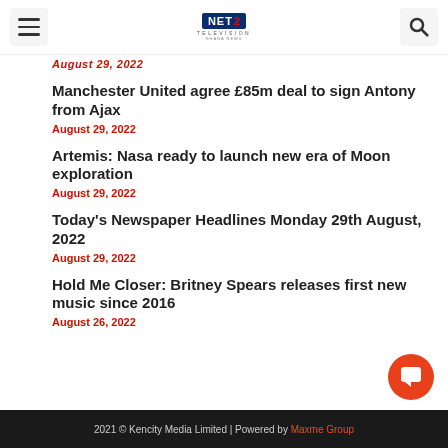NET2 TELEVISION
August 29, 2022
Manchester United agree £85m deal to sign Antony from Ajax
August 29, 2022
Artemis: Nasa ready to launch new era of Moon exploration
August 29, 2022
Today's Newspaper Headlines Monday 29th August, 2022
August 29, 2022
Hold Me Closer: Britney Spears releases first new music since 2016
August 26, 2022
2021 © Kencity Media Limited | Powered by Maxme Group